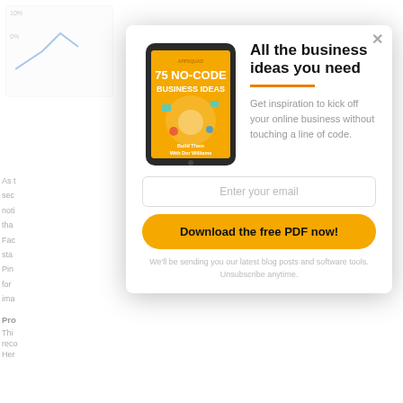[Figure (screenshot): Background page content partially visible behind modal — includes a line chart snippet at top left and partial article text starting with 'As t', 'sec', 'noti', 'tha', 'Fac', 'sta', 'Pin', 'for', 'ima' and 'Pro', 'Thi', 'reco', 'Her']
[Figure (infographic): Modal popup with book cover image of tablet showing '75 NO-CODE BUSINESS IDEAS' on yellow background by APPSQUAD, 'Build Them With Dor Williams'. Right side shows title, orange divider line, description text, email input field, download button, and footnote.]
All the business ideas you need
Get inspiration to kick off your online business without touching a line of code.
Enter your email
Download the free PDF now!
We'll be sending you our latest blog posts and software tools. Unsubscribe anytime.